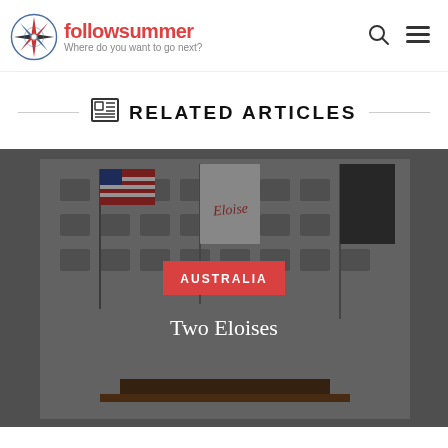followsummer – Where do you want to go next?
RELATED ARTICLES
[Figure (photo): Dark-tinted photograph of a grand hotel building facade with flags including an American flag and an 'Eloise' banner flying in front, with a red 'AUSTRALIA' category badge and 'Two Eloises' article title overlaid on the image.]